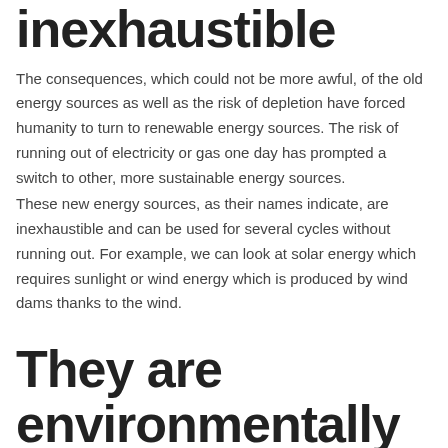inexhaustible
The consequences, which could not be more awful, of the old energy sources as well as the risk of depletion have forced humanity to turn to renewable energy sources. The risk of running out of electricity or gas one day has prompted a switch to other, more sustainable energy sources.
These new energy sources, as their names indicate, are inexhaustible and can be used for several cycles without running out. For example, we can look at solar energy which requires sunlight or wind energy which is produced by wind dams thanks to the wind.
They are environmentally